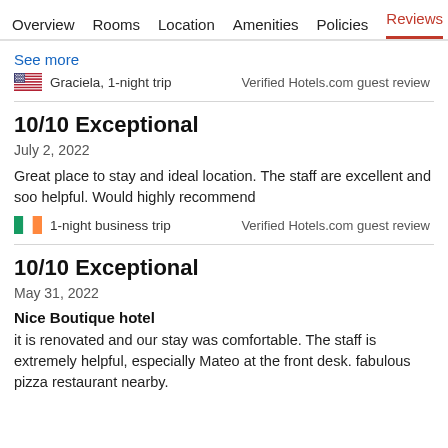Overview  Rooms  Location  Amenities  Policies  Reviews
See more
Graciela, 1-night trip
Verified Hotels.com guest review
10/10 Exceptional
July 2, 2022
Great place to stay and ideal location. The staff are excellent and soo helpful. Would highly recommend
1-night business trip
Verified Hotels.com guest review
10/10 Exceptional
May 31, 2022
Nice Boutique hotel
it is renovated and our stay was comfortable. The staff is extremely helpful, especially Mateo at the front desk. fabulous pizza restaurant nearby.